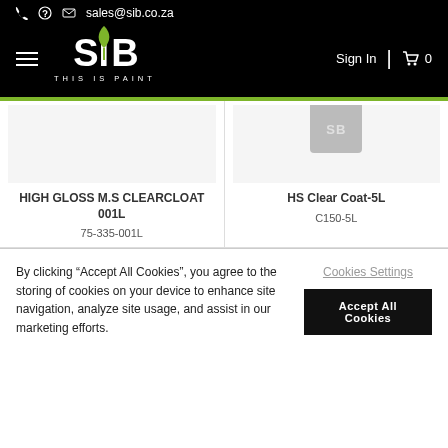sales@sib.co.za
[Figure (logo): SIB THIS IS PAINT logo with green leaf, on black background. Sign In and cart navigation.]
HIGH GLOSS M.S CLEARCLOAT 001L
75-335-001L
HS Clear Coat-5L
C150-5L
By clicking “Accept All Cookies”, you agree to the storing of cookies on your device to enhance site navigation, analyze site usage, and assist in our marketing efforts.
Cookies Settings
Accept All Cookies